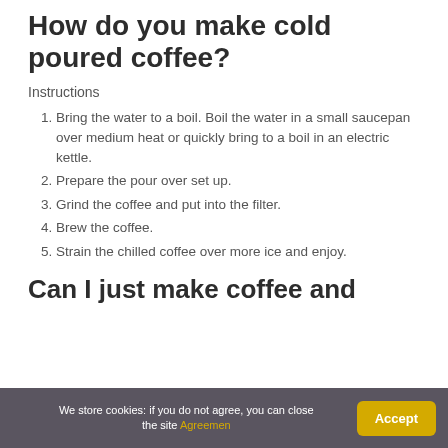How do you make cold poured coffee?
Instructions
Bring the water to a boil. Boil the water in a small saucepan over medium heat or quickly bring to a boil in an electric kettle.
Prepare the pour over set up.
Grind the coffee and put into the filter.
Brew the coffee.
Strain the chilled coffee over more ice and enjoy.
Can I just make coffee and
We store cookies: if you do not agree, you can close the site Agreemen